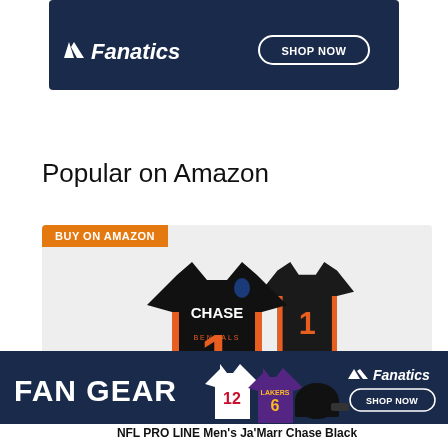[Figure (advertisement): Fanatics banner ad with logo and SHOP NOW button on dark navy background]
Popular on Amazon
[Figure (advertisement): Product card with BUY ON AMAZON badge showing Ja'Marr Chase Bengals NFL jersey (black, number 1)]
[Figure (advertisement): Fanatics FAN GEAR banner ad with sports jerseys and SHOP NOW button]
NFL PRO LINE Men's Ja'Marr Chase Black